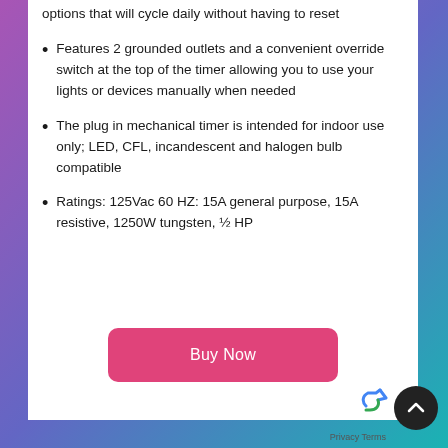options that will cycle daily without having to reset
Features 2 grounded outlets and a convenient override switch at the top of the timer allowing you to use your lights or devices manually when needed
The plug in mechanical timer is intended for indoor use only; LED, CFL, incandescent and halogen bulb compatible
Ratings: 125Vac 60 HZ: 15A general purpose, 15A resistive, 1250W tungsten, ½ HP